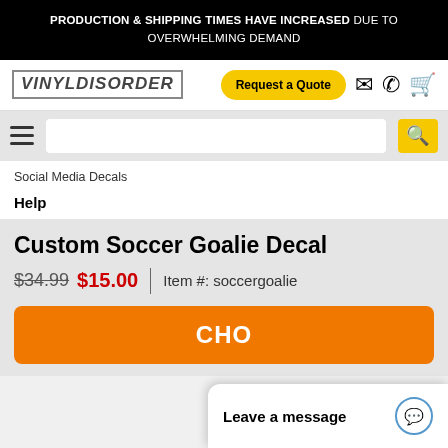PRODUCTION & SHIPPING TIMES HAVE INCREASED DUE TO OVERWHELMING DEMAND
[Figure (logo): VinylDisorder logo with grunge-style text, Request a Quote yellow button, email icon, phone icon, cart icon]
[Figure (screenshot): Hamburger menu icon, search input bar, yellow search button]
Social Media Decals
Help
Custom Soccer Goalie Decal
$34.99  $15.00  |  Item #: soccergoalie
CHO
Leave a message